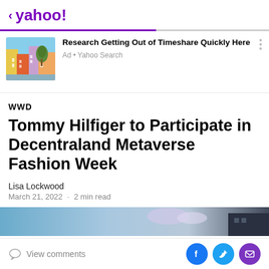< yahoo!
[Figure (screenshot): Yahoo news article page showing an ad for 'Research Getting Out of Timeshare Quickly Here' with a photo of colorful buildings, followed by a WWD article headline 'Tommy Hilfiger to Participate in Decentraland Metaverse Fashion Week' by Lisa Lockwood, March 21, 2022, 2 min read]
Research Getting Out of Timeshare Quickly Here
Ad • Yahoo Search
WWD
Tommy Hilfiger to Participate in Decentraland Metaverse Fashion Week
Lisa Lockwood
March 21, 2022 · 2 min read
View comments